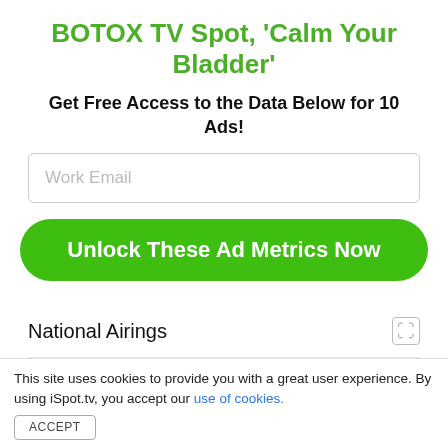BOTOX TV Spot, 'Calm Your Bladder'
Get Free Access to the Data Below for 10 Ads!
Work Email
Unlock These Ad Metrics Now
National Airings
First Airing
Last Airing
Creatives
This site uses cookies to provide you with a great user experience. By using iSpot.tv, you accept our use of cookies.